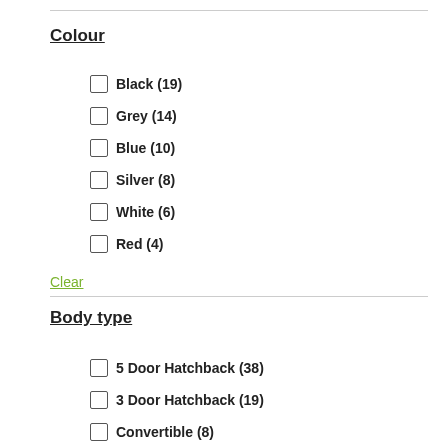Colour
Black (19)
Grey (14)
Blue (10)
Silver (8)
White (6)
Red (4)
Clear
Body type
5 Door Hatchback (38)
3 Door Hatchback (19)
Convertible (8)
4 Door Saloon (2)